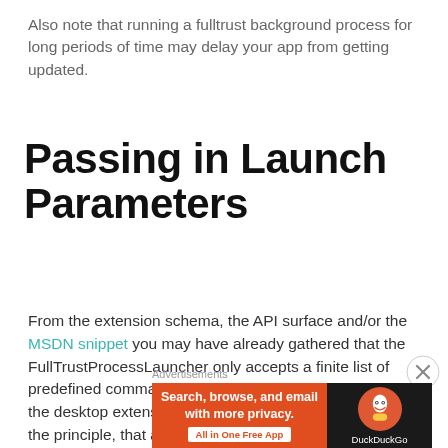Also note that running a fulltrust background process for long periods of time may delay your app from getting updated.
Passing in Launch Parameters
From the extension schema, the API surface and/or the MSDN snippet you may have already gathered that the FullTrustProcessLauncher only accepts a finite list of predefined command line arguments that get passed to the desktop extension process. This design is based on the principle, that a less trusted process should not be
Advertisements
[Figure (screenshot): DuckDuckGo advertisement banner with orange left panel reading 'Search, browse, and email with more privacy. All in One Free App' and dark right panel with DuckDuckGo logo]